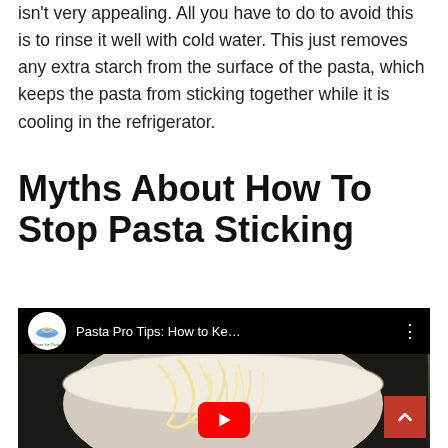isn't very appealing. All you have to do to avoid this is to rinse it well with cold water. This just removes any extra starch from the surface of the pasta, which keeps the pasta from sticking together while it is cooling in the refrigerator.
Myths About How To Stop Pasta Sticking
[Figure (screenshot): Embedded YouTube video thumbnail showing pasta in a colander, with video title 'Pasta Pro Tips: How to Ke...' and Share the Pasta channel logo. A YouTube play button is visible at the bottom center.]